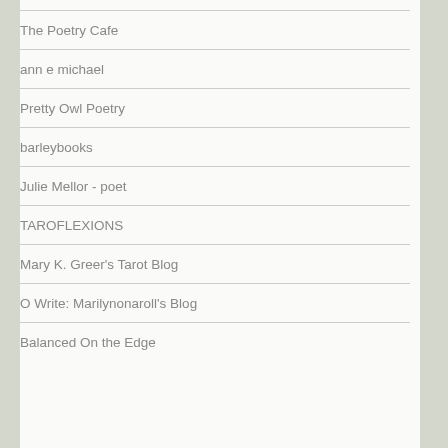The Poetry Cafe
ann e michael
Pretty Owl Poetry
barleybooks
Julie Mellor - poet
TAROFLEXIONS
Mary K. Greer's Tarot Blog
O Write: Marilynonaroll's Blog
Balanced On the Edge